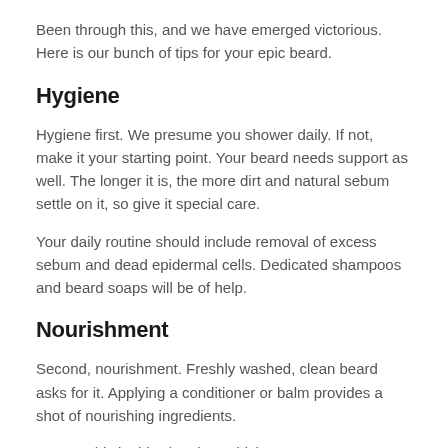Been through this, and we have emerged victorious. Here is our bunch of tips for your epic beard.
Hygiene
Hygiene first. We presume you shower daily. If not, make it your starting point. Your beard needs support as well. The longer it is, the more dirt and natural sebum settle on it, so give it special care.
Your daily routine should include removal of excess sebum and dead epidermal cells. Dedicated shampoos and beard soaps will be of help.
Nourishment
Second, nourishment. Freshly washed, clean beard asks for it. Applying a conditioner or balm provides a shot of nourishing ingredients.
You get this in this situation, which...